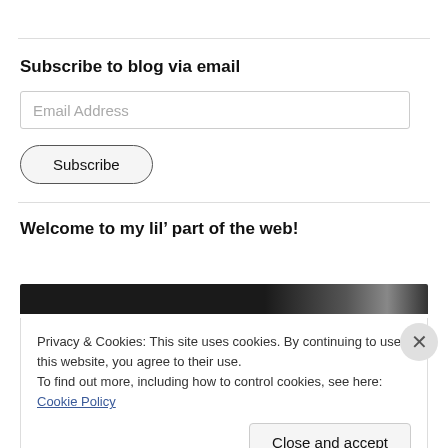Subscribe to blog via email
Email Address
Subscribe
Welcome to my lil’ part of the web!
[Figure (photo): Dark horizontal image strip, likely a header image for the blog.]
Privacy & Cookies: This site uses cookies. By continuing to use this website, you agree to their use.
To find out more, including how to control cookies, see here: Cookie Policy
Close and accept